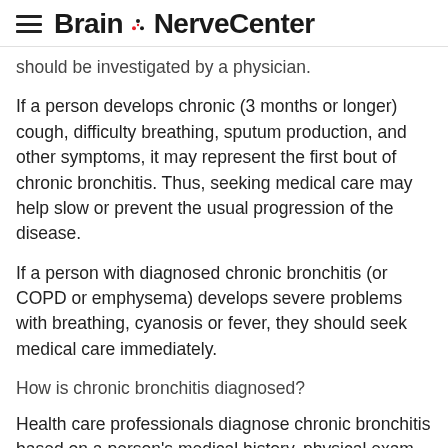Brain & Nerve Center
should be investigated by a physician.
If a person develops chronic (3 months or longer) cough, difficulty breathing, sputum production, and other symptoms, it may represent the first bout of chronic bronchitis. Thus, seeking medical care may help slow or prevent the usual progression of the disease.
If a person with diagnosed chronic bronchitis (or COPD or emphysema) develops severe problems with breathing, cyanosis or fever, they should seek medical care immediately.
How is chronic bronchitis diagnosed?
Health care professionals diagnose chronic bronchitis based on a person's medical history, physical exam, and diagnostic tests. A history of a daily productive